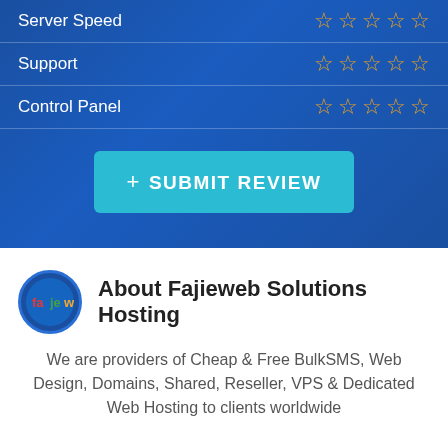| Category | Rating |
| --- | --- |
| Server Speed | ☆☆☆☆☆ |
| Support | ☆☆☆☆☆ |
| Control Panel | ☆☆☆☆☆ |
+ SUBMIT REVIEW
[Figure (logo): Fajieweb Solutions Hosting circular logo with text 'fajw' in blue circle]
About Fajieweb Solutions Hosting
We are providers of Cheap & Free BulkSMS, Web Design, Domains, Shared, Reseller, VPS & Dedicated Web Hosting to clients worldwide